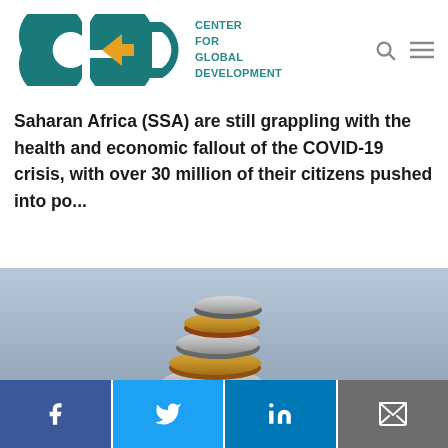[Figure (logo): Center for Global Development (CGD) logo — teal CGD letterform with yellow arrow accent, beside text CENTER FOR GLOBAL DEVELOPMENT]
Saharan Africa (SSA) are still grappling with the health and economic fallout of the COVID-19 crisis, with over 30 million of their citizens pushed into po...
[Figure (photo): A tall stack of mixed euro coins (gold and silver) balanced on a surface, with blurred coins scattered in the background. The image suggests finance, savings, or economic development.]
Facebook | Twitter | LinkedIn | Email